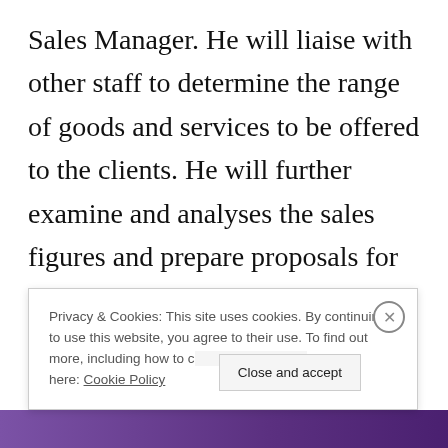Sales Manager. He will liaise with other staff to determine the range of goods and services to be offered to the clients. He will further examine and analyses the sales figures and prepare proposals for marketing campaigns and promotional activities.
The directors' philosophy is to grow in
Privacy & Cookies: This site uses cookies. By continuing to use this website, you agree to their use. To find out more, including how to c[ontrol cookies, see] here: Cookie Policy